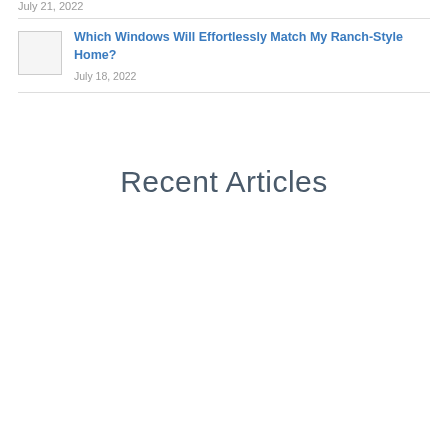July 21, 2022
Which Windows Will Effortlessly Match My Ranch-Style Home?
July 18, 2022
Recent Articles